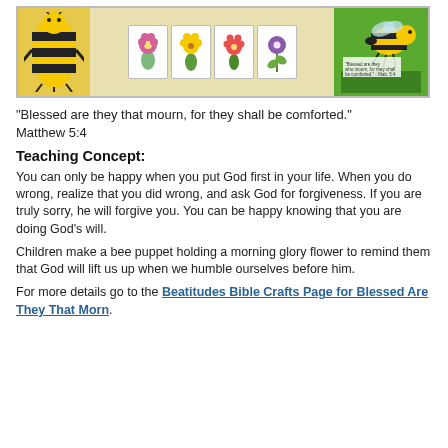[Figure (photo): A bee puppet made from a sock with yellow and black stripes on the left, craft cards with flower illustrations in the middle, and a cartoon bee illustration on the right with text 'Blessed are they that mourn, for they shall be comforted. - Matt. 5:4']
"Blessed are they that mourn, for they shall be comforted." Matthew 5:4
Teaching Concept:
You can only be happy when you put God first in your life. When you do wrong, realize that you did wrong, and ask God for forgiveness. If you are truly sorry, he will forgive you. You can be happy knowing that you are doing God's will.
Children make a bee puppet holding a morning glory flower to remind them that God will lift us up when we humble ourselves before him.
For more details go to the Beatitudes Bible Crafts Page for Blessed Are They That Morn.